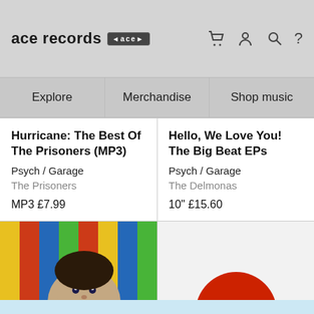ace records [ace logo]
Explore | Merchandise | Shop music
Hurricane: The Best Of The Prisoners (MP3)
Psych / Garage
The Prisoners
MP3 £7.99
Hello, We Love You! The Big Beat EPs
Psych / Garage
The Delmonas
10" £15.60
[Figure (photo): Album cover image with colorful background and person's face at bottom]
[Figure (photo): Album cover image with white/light background and red circle partially visible at bottom]
Please note our website uses cookies to improve your experience. I understand. For more information see our Privacy Notice & Cookie Policy.